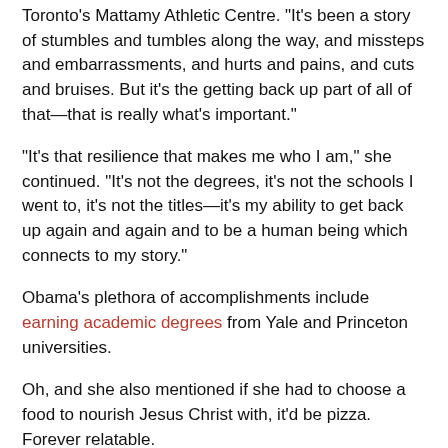Toronto's Mattamy Athletic Centre. "It's been a story of stumbles and tumbles along the way, and missteps and embarrassments, and hurts and pains, and cuts and bruises. But it's the getting back up part of all of that—that is really what's important."
"It's that resilience that makes me who I am," she continued. "It's not the degrees, it's not the schools I went to, it's not the titles—it's my ability to get back up again and again and to be a human being which connects to my story."
Obama's plethora of accomplishments include earning academic degrees from Yale and Princeton universities.
Oh, and she also mentioned if she had to choose a food to nourish Jesus Christ with, it'd be pizza. Forever relatable.
Join the Conversation